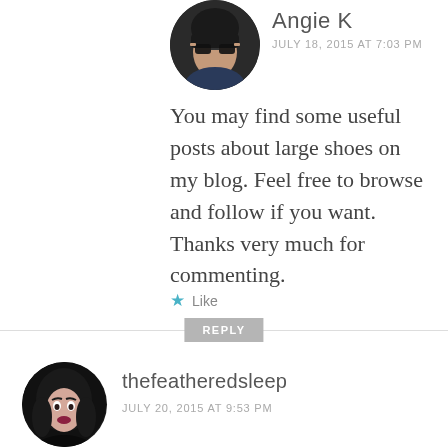[Figure (photo): Circular avatar photo of Angie K, a person holding sunglasses to their face, dark hair, dark background]
Angie K
JULY 18, 2015 AT 7:03 PM
You may find some useful posts about large shoes on my blog. Feel free to browse and follow if you want. Thanks very much for commenting.
Like
REPLY
[Figure (photo): Circular avatar photo of thefeatheredsleep, a woman with dark hair and dramatic makeup, dark background]
thefeatheredsleep
JULY 20, 2015 AT 9:53 PM